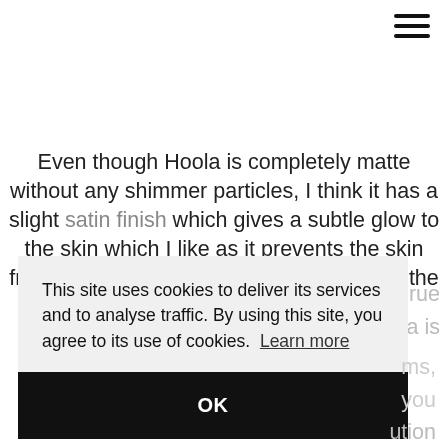[Figure (other): Hamburger menu icon (three horizontal lines) in top-right corner]
Even though Hoola is completely matte without any shimmer particles, I think it has a slight satin finish which gives a subtle glow to the skin which I like as it prevents the skin from looking flat. If you're on the ... rue ... ola is
This site uses cookies to deliver its services and to analyse traffic. By using this site, you agree to its use of cookies. Learn more
OK
ms, you ution